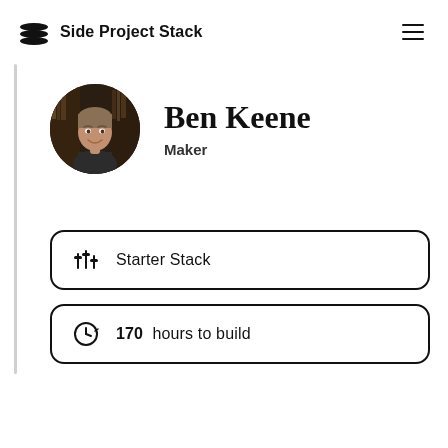Side Project Stack
[Figure (illustration): Circular profile photo of Ben Keene, a man smiling in a dark setting with bookshelves]
Ben Keene
Maker
Starter Stack
170  hours to build